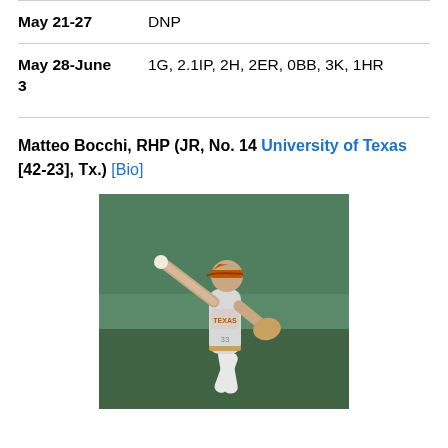May 21-27 | DNP
May 28-June 3 | 1G, 2.1IP, 2H, 2ER, 0BB, 3K, 1HR
Matteo Bocchi, RHP (JR, No. 14 University of Texas [42-23], Tx.) [Bio]
[Figure (photo): Matteo Bocchi pitching in a Texas Longhorns uniform, mid-windup throwing motion]